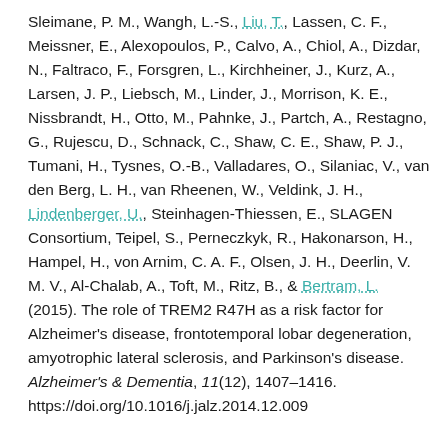Sleimane, P. M., Wangh, L.-S., Liu, T., Lassen, C. F., Meissner, E., Alexopoulos, P., Calvo, A., Chiol, A., Dizdar, N., Faltraco, F., Forsgren, L., Kirchheiner, J., Kurz, A., Larsen, J. P., Liebsch, M., Linder, J., Morrison, K. E., Nissbrandt, H., Otto, M., Pahnke, J., Partch, A., Restagno, G., Rujescu, D., Schnack, C., Shaw, C. E., Shaw, P. J., Tumani, H., Tysnes, O.-B., Valladares, O., Silaniac, V., van den Berg, L. H., van Rheenen, W., Veldink, J. H., Lindenberger, U., Steinhagen-Thiessen, E., SLAGEN Consortium, Teipel, S., Perneczkyk, R., Hakonarson, H., Hampel, H., von Arnim, C. A. F., Olsen, J. H., Deerlin, V. M. V., Al-Chalab, A., Toft, M., Ritz, B., & Bertram, L. (2015). The role of TREM2 R47H as a risk factor for Alzheimer's disease, frontotemporal lobar degeneration, amyotrophic lateral sclerosis, and Parkinson's disease. Alzheimer's & Dementia, 11(12), 1407–1416. https://doi.org/10.1016/j.jalz.2014.12.009